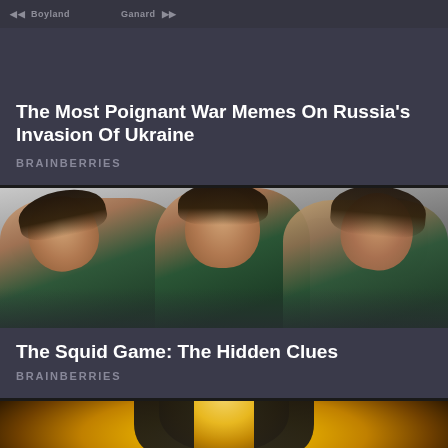[Figure (screenshot): Dark-themed article card with navigation bar overlay at top. Title card for war memes article.]
The Most Poignant War Memes On Russia's Invasion Of Ukraine
BRAINBERRIES
[Figure (photo): Photo of three young women in teal/green tracksuits huddled together, heads touching, looking downward. Black and white blurred background with other figures. Still from Squid Game.]
The Squid Game: The Hidden Clues
BRAINBERRIES
[Figure (photo): Partial photo of a person wearing a golden/metallic mask, only top portion visible at bottom of page.]